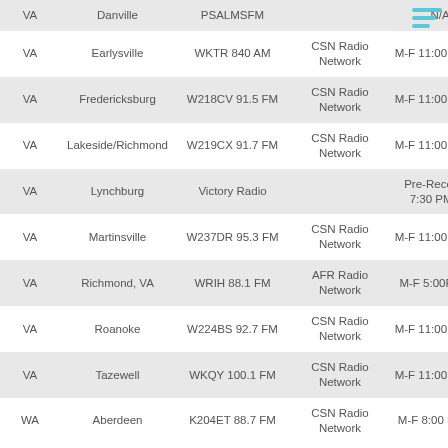| State | City | Station | Network | Time |
| --- | --- | --- | --- | --- |
| VA | Danville | PSALMSFM |  | N/A |
| VA | Earlysville | WKTR 840 AM | CSN Radio Network | M-F 11:00 PM ET |
| VA | Fredericksburg | W218CV 91.5 FM | CSN Radio Network | M-F 11:00 PM ET |
| VA | Lakeside/Richmond | W219CX 91.7 FM | CSN Radio Network | M-F 11:00 PM ET |
| VA | Lynchburg | Victory Radio |  | Pre-Recorded 7:30 PM ET |
| VA | Martinsville | W237DR 95.3 FM | CSN Radio Network | M-F 11:00 PM ET |
| VA | Richmond, VA | WRIH 88.1 FM | AFR Radio Network | M-F 5:00PM ET |
| VA | Roanoke | W224BS 92.7 FM | CSN Radio Network | M-F 11:00 PM ET |
| VA | Tazewell | WKQY 100.1 FM | CSN Radio Network | M-F 11:00 PM ET |
| WA | Aberdeen | K204ET 88.7 FM | CSN Radio Network | M-F 8:00 PM PT |